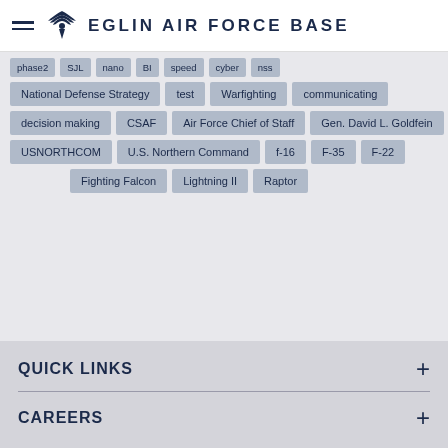Eglin Air Force Base
phase2 | SJL | nano | BI | speed | cyber | nss
National Defense Strategy | test | Warfighting | communicating
decision making | CSAF | Air Force Chief of Staff | Gen. David L. Goldfein
USNORTHCOM | U.S. Northern Command | f-16 | F-35 | F-22
Fighting Falcon | Lightning II | Raptor
QUICK LINKS
CAREERS